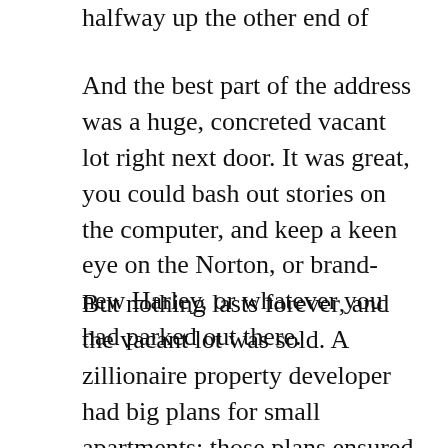halfway up the other end of George Street.
And the best part of the address was a huge, concreted vacant lot right next door. It was great, you could bash out stories on the computer, and keep a keen eye on the Norton, or brand-new Harley, or whatever you had parked out there.
But nothing lasts forever, and the vacant lot was sold. A zillionaire property developer had big plans for small apartments; those plans ensured we weren't going to like what was about to occur for the next year or so. When a huge vacant lot turns into a skinny, scaffold-clad driveway, it's always bad, but when the machines take over your own little world, it's